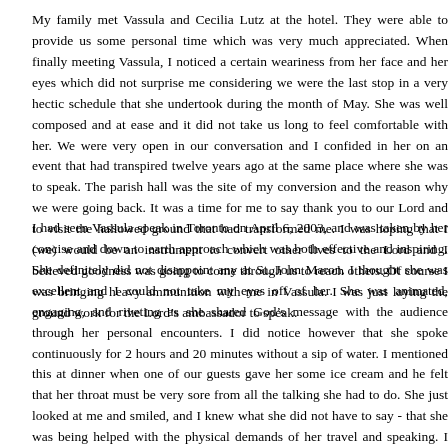My family met Vassula and Cecilia Lutz at the hotel. They were able to provide us some personal time which was very much appreciated. When finally meeting Vassula, I noticed a certain weariness from her face and her eyes which did not surprise me considering we were the last stop in a very hectic schedule that she undertook during the month of May. She was well composed and at ease and it did not take us long to feel comfortable with her. We were very open in our conversation and I confided in her on an event that had transpired twelve years ago at the same place where she was to speak. The parish hall was the site of my conversion and the reason why we were going back. It was a time for me to say thank you to our Lord and to visit the hallowed ground that had transformed me. I was hoping that I (we) would be an instrument to convert other lives to the Lord and I believed goodness was going to come through us to reach others. Of course I was bringing heavy ammunition with me in Vassula. I was just laying the ground work for the Lord’s ambassador to speak.
I had seen Vassula speak in Toronto on April 6, 2003, and was taken by her concise and down to earth approach which was both effective and inspiring. She definitely did not disappoint any at St. John Maron. I thought she was excellent and I could not take my eyes off of her. She was animated, engaging, and riveting as she shared God’s message with the audience through her personal encounters. I did notice however that she spoke continuously for 2 hours and 20 minutes without a sip of water. I mentioned this at dinner when one of our guests gave her some ice cream and he felt that her throat must be very sore from all the talking she had to do. She just looked at me and smiled, and I knew what she did not have to say - that she was being helped with the physical demands of her travel and speaking. I had heard that the singing Armenian ladies that had traveled with her lost their voices at times and could